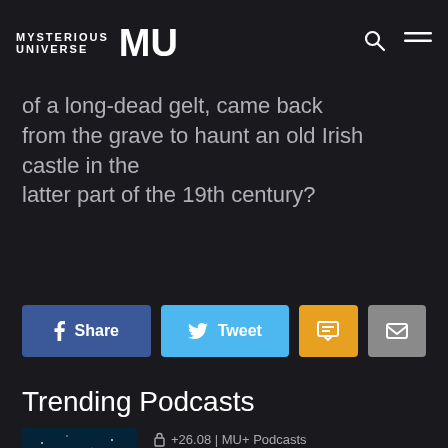MYSTERIOUS UNIVERSE MU
castle, and as described by Mr. and Mrs. A, was of a long-dead gelt, came back from the grave to haunt an old Irish castle in the latter part of the 19th century?
[Figure (infographic): Social sharing buttons: Share (Facebook, blue), Tweet (Twitter, light blue), SMS (yellow/orange), Email (grey)]
Trending Podcasts
[Figure (illustration): Podcast thumbnail artwork showing a figure standing before massive ocean waves with teal/blue tones]
+26.08 | MU+ Podcasts
26.08 – MU Plus+ Podcast – Hacking the Demiurge